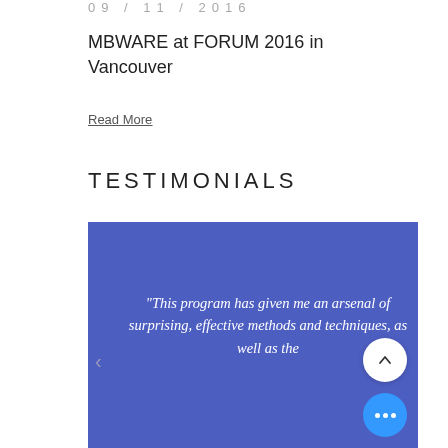09 / 11 / 2016
MBWARE at FORUM 2016 in Vancouver
Read More
TESTIMONIALS
[Figure (screenshot): Blue testimonial slider card with quote text: “This program has given me an arsenal of surprising, effective methods and techniques, as well as the…” with navigation arrows and buttons]
“This program has given me an arsenal of surprising, effective methods and techniques, as well as the